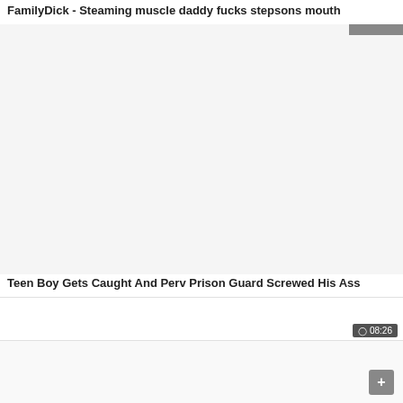FamilyDick - Steaming muscle daddy fucks stepsons mouth
[Figure (photo): Video thumbnail placeholder, white/light gray area]
Teen Boy Gets Caught And Perv Prison Guard Screwed His Ass
[Figure (photo): Video thumbnail placeholder, white/light gray area with scroll-to-top button]